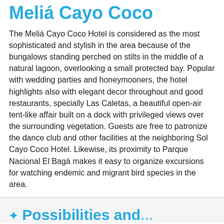Meliá Cayo Coco
The Meliá Cayo Coco Hotel is considered as the most sophisticated and stylish in the area because of the bungalows standing perched on stilts in the middle of a natural lagoon, overlooking a small protected bay. Popular with wedding parties and honeymooners, the hotel highlights also with elegant decor throughout and good restaurants, specially Las Caletas, a beautiful open-air tent-like affair built on a dock with privileged views over the surrounding vegetation. Guests are free to patronize the dance club and other facilities at the neighboring Sol Cayo Coco Hotel. Likewise, its proximity to Parque Nacional El Bagá makes it easy to organize excursions for watching endemic and migrant bird species in the area.
Possibilities and...